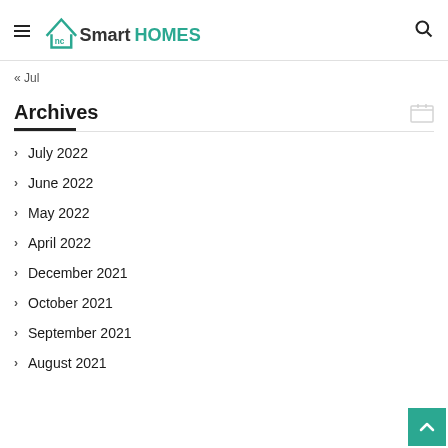NC Smart Homes
« Jul
Archives
July 2022
June 2022
May 2022
April 2022
December 2021
October 2021
September 2021
August 2021